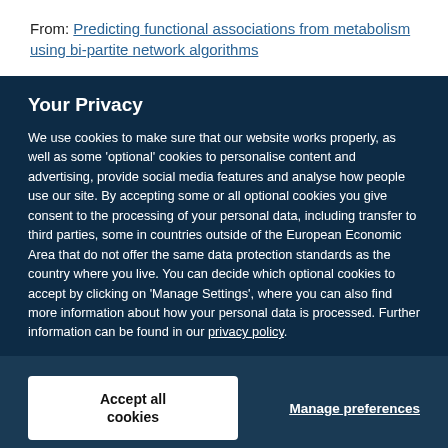From: Predicting functional associations from metabolism using bi-partite network algorithms
Your Privacy
We use cookies to make sure that our website works properly, as well as some ‘optional’ cookies to personalise content and advertising, provide social media features and analyse how people use our site. By accepting some or all optional cookies you give consent to the processing of your personal data, including transfer to third parties, some in countries outside of the European Economic Area that do not offer the same data protection standards as the country where you live. You can decide which optional cookies to accept by clicking on ‘Manage Settings’, where you can also find more information about how your personal data is processed. Further information can be found in our privacy policy.
Accept all cookies
Manage preferences